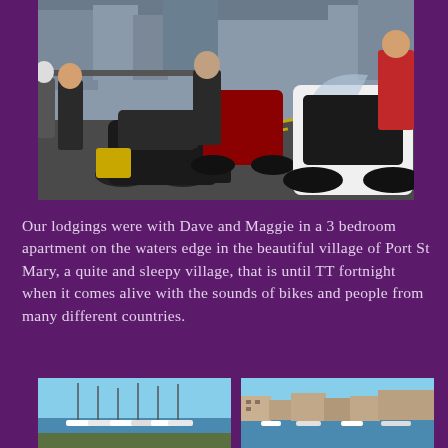[Figure (photo): Motorcycles and riders in a car park area near a town, with buildings and fencing visible in the background. Several large touring motorcycles are prominently shown including a black and white Triumph, a red bike, and other touring bikes. Riders are dressed in motorcycle gear.]
Our lodgings were with Dave and Maggie in a 3 bedroom apartment on the waters edge in the beautiful village of Port St Mary, a quite and sleepy village, that is until TT fortnight when it comes alive with the sounds of bikes and people from many different countries.
[Figure (photo): Two side-by-side harbour/marina photos showing boats and waterfront buildings under a clear blue sky.]